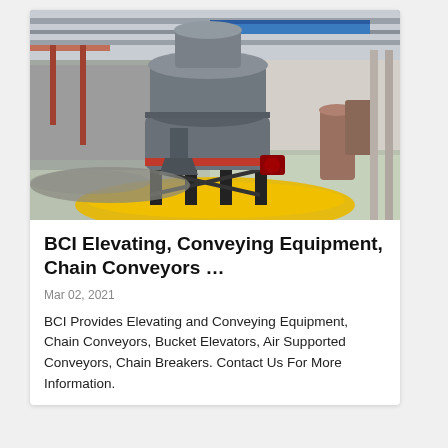[Figure (photo): Industrial conveying/elevating machine (cone crusher or similar) on a factory floor with yellow safety barrier, inside a large industrial building with steel structure visible overhead.]
BCI Elevating, Conveying Equipment, Chain Conveyors …
Mar 02, 2021
BCI Provides Elevating and Conveying Equipment, Chain Conveyors, Bucket Elevators, Air Supported Conveyors, Chain Breakers. Contact Us For More Information.